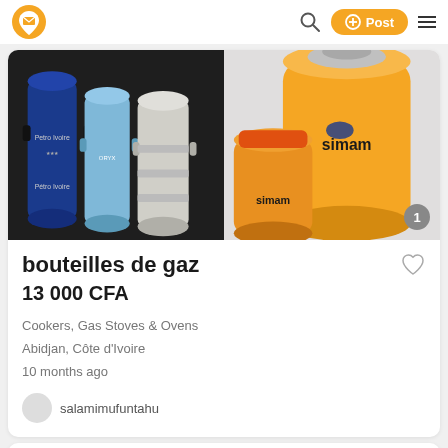Jiji marketplace navigation bar with logo, search, Post button, and menu
[Figure (photo): Two product photos side by side: left shows stacked blue (Petro Ivoire), light blue, and white/grey gas cylinders on dark background; right shows yellow and silver Simam branded gas cylinders on light grey background, with a badge showing number 1 in bottom right corner]
bouteilles de gaz
13 000 CFA
Cookers, Gas Stoves & Ovens
Abidjan, Côte d'Ivoire
10 months ago
salamimufuntahu